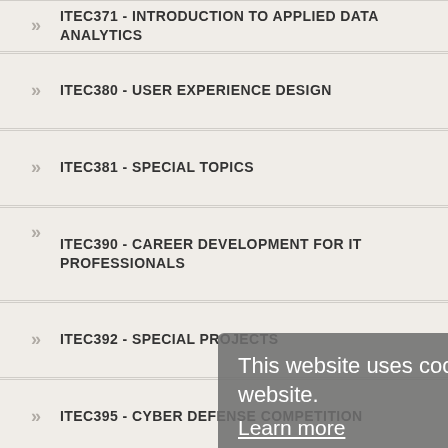ITEC371 - INTRODUCTION TO APPLIED DATA ANALYTICS
ITEC380 - USER EXPERIENCE DESIGN
ITEC381 - SPECIAL TOPICS
ITEC390 - CAREER DEVELOPMENT FOR IT PROFESSIONALS
ITEC392 - SPECIAL PROJECTS
ITEC395 - CYBER DEFENSE COMPETITION
ITEC399 - INDIVIDUAL STUDY
ITEC403 - CLIENT-SIDE WEB DEVELOPMENT
ITEC404 - INFORMATION TECHNOLOGY PROJECT MANAGEMENT
ITEC405 - SERVER-SIDE WEB DEVELOPMENT